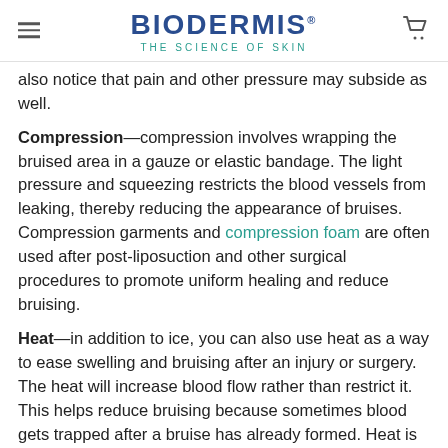BIODERMIS THE SCIENCE OF SKIN
also notice that pain and other pressure may subside as well.
Compression—compression involves wrapping the bruised area in a gauze or elastic bandage. The light pressure and squeezing restricts the blood vessels from leaking, thereby reducing the appearance of bruises. Compression garments and compression foam are often used after post-liposuction and other surgical procedures to promote uniform healing and reduce bruising.
Heat—in addition to ice, you can also use heat as a way to ease swelling and bruising after an injury or surgery. The heat will increase blood flow rather than restrict it. This helps reduce bruising because sometimes blood gets trapped after a bruise has already formed. Heat is also helps to loosen tense muscles and decrease pain. You can use a heating